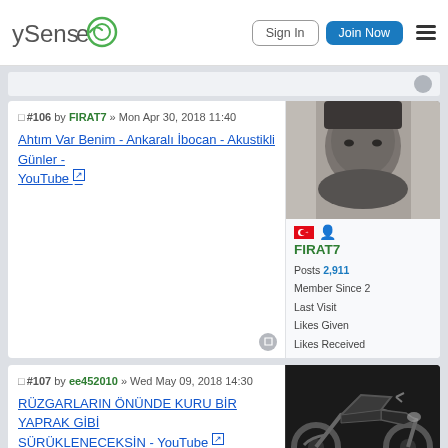ySense | Sign In | Join Now
#106 by FIRAT7 » Mon Apr 30, 2018 11:40
Ahtım Var Benim - Ankaralı İbocan - Akustikli Günler - YouTube [external link]
FIRAT7
Posts 2,911
Member Since
Last Visit
Likes Given
Likes Received
#107 by ee452010 » Wed May 09, 2018 14:30
RÜZGARLARIN ÖNÜNDE KURU BİR YAPRAK GİBİ SÜRÜKLENECEKSİN - YouTube [external link]